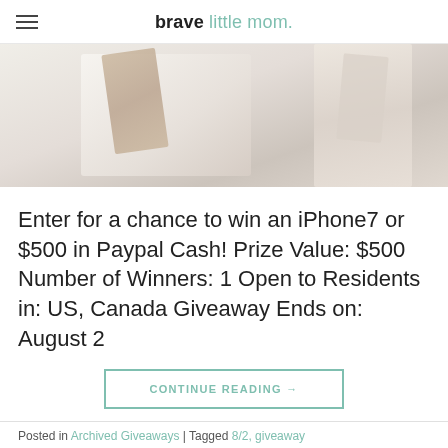brave little mom.
[Figure (photo): Flat lay photo of white notebook or phone accessories on a white background with gold/rose gold accents, partially cropped at top of page]
Enter for a chance to win an iPhone7 or $500 in Paypal Cash! Prize Value: $500 Number of Winners: 1 Open to Residents in: US, Canada Giveaway Ends on: August 2
CONTINUE READING →
Posted in Archived Giveaways | Tagged 8/2, giveaway